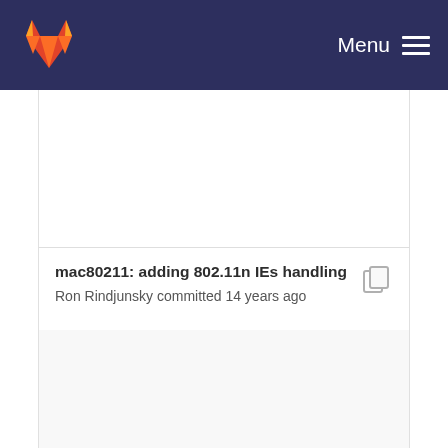GitLab — Menu
mac80211: adding 802.11n IEs handling
Ron Rindjunsky committed 14 years ago